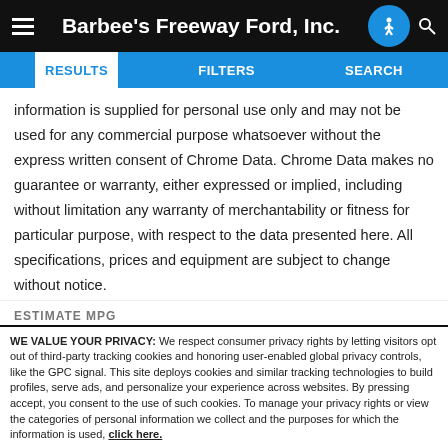Barbee's Freeway Ford, Inc.
RESULTS   FILTERS   SEARCH
information is supplied for personal use only and may not be used for any commercial purpose whatsoever without the express written consent of Chrome Data. Chrome Data makes no guarantee or warranty, either expressed or implied, including without limitation any warranty of merchantability or fitness for particular purpose, with respect to the data presented here. All specifications, prices and equipment are subject to change without notice.
ESTIMATE MPG
WE VALUE YOUR PRIVACY: We respect consumer privacy rights by letting visitors opt out of third-party tracking cookies and honoring user-enabled global privacy controls, like the GPC signal. This site deploys cookies and similar tracking technologies to build profiles, serve ads, and personalize your experience across websites. By pressing accept, you consent to the use of such cookies. To manage your privacy rights or view the categories of personal information we collect and the purposes for which the information is used, click here.
Language: English  ∨  Powered by ComplyAuto
Accept and Continue →   Privacy Policy   ✕